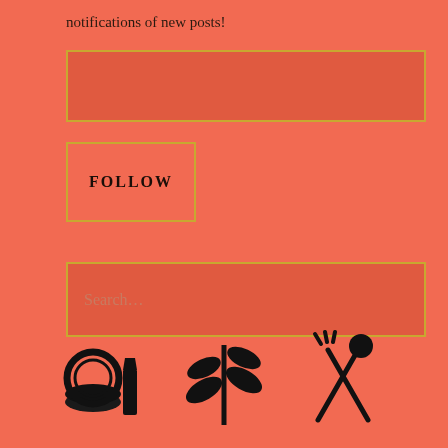notifications of new posts!
[Figure (screenshot): Email input field box with yellow border on coral background]
[Figure (screenshot): FOLLOW button with yellow border on coral background]
[Figure (screenshot): Search input field box with yellow border and placeholder text 'Search...' on coral background]
[Figure (illustration): Three black icons: makeup compact and lipstick, a leaf/plant sprig, and crossed spoon and fork]